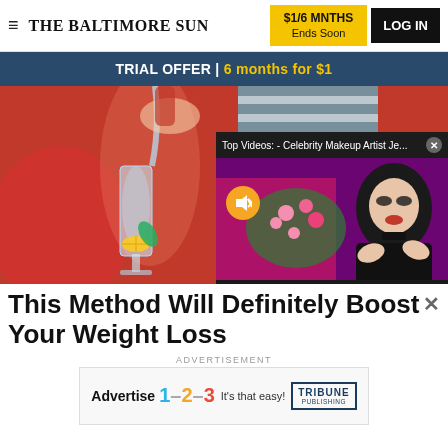≡ THE BALTIMORE SUN | $1/6 MNTHS Ends Soon | LOG IN
TRIAL OFFER | 6 months for $1
[Figure (photo): Person in red outfit pouring a drink into a champagne glass with lemon slice; right side shows a hand and striped fabric]
[Figure (screenshot): Video overlay: Top Videos: - Celebrity Makeup Artist Je... with a woman in black jacket against pink floral background; mute button shown]
This Method Will Definitely Boost Your Weight Loss
ADVERTISEMENT
[Figure (other): Tribune Publishing advertisement: Advertise 1-2-3 It's that easy! TRIBUNE PUBLISHING]